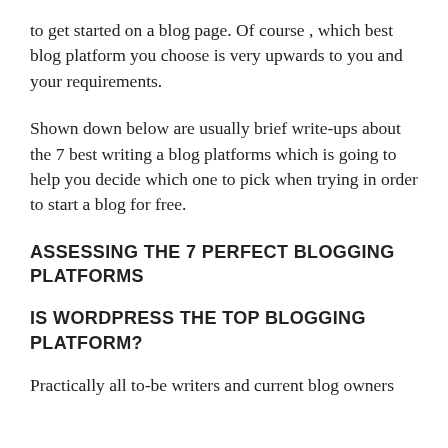to get started on a blog page. Of course , which best blog platform you choose is very upwards to you and your requirements.
Shown down below are usually brief write-ups about the 7 best writing a blog platforms which is going to help you decide which one to pick when trying in order to start a blog for free.
ASSESSING THE 7 PERFECT BLOGGING PLATFORMS
IS WORDPRESS THE TOP BLOGGING PLATFORM?
Practically all to-be writers and current blog owners